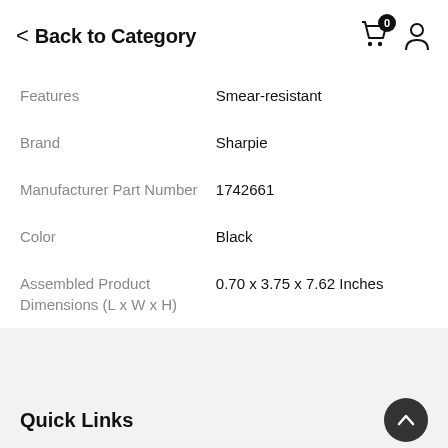< Back to Category
|  |  |
| --- | --- |
| Features | Smear-resistant |
| Brand | Sharpie |
| Manufacturer Part Number | 1742661 |
| Color | Black |
| Assembled Product Dimensions (L x W x H) | 0.70 x 3.75 x 7.62 Inches |
Quick Links
Company